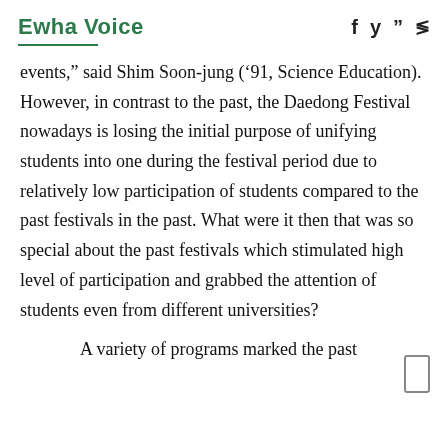Ewha Voice
events," said Shim Soon-jung ('91, Science Education). However, in contrast to the past, the Daedong Festival nowadays is losing the initial purpose of unifying students into one during the festival period due to relatively low participation of students compared to the past festivals in the past. What were it then that was so special about the past festivals which stimulated high level of participation and grabbed the attention of students even from different universities?
A variety of programs marked the past